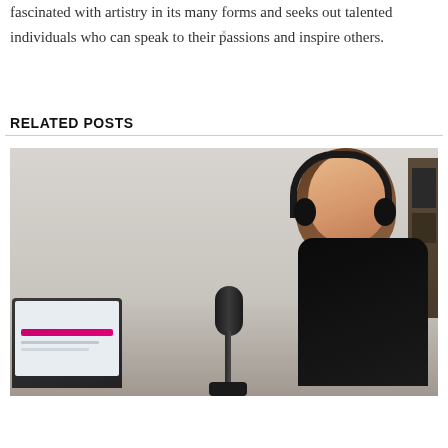fascinated with artistry in its many forms and seeks out talented individuals who can speak to their passions and inspire others.
RELATED POSTS
[Figure (photo): Woman with long wavy hair wearing large black headphones, sitting in front of a professional microphone on a desk stand, smiling, with a laptop open showing a colorful screen. Podcast recording setup.]